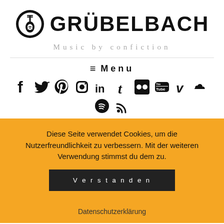[Figure (logo): Grübelbach guitar logo icon with circular design]
GRÜBELBACH
Music by confiction
≡  Menu
[Figure (infographic): Social media icons row: Facebook, Twitter, Pinterest, Instagram, LinkedIn, Tumblr, Flickr, YouTube, Vimeo, SoundCloud, Spotify, RSS]
Diese Seite verwendet Cookies, um die Nutzerfreundlichkeit zu verbessern. Mit der weiteren Verwendung stimmst du dem zu.
Verstanden
Datenschutzerklärung